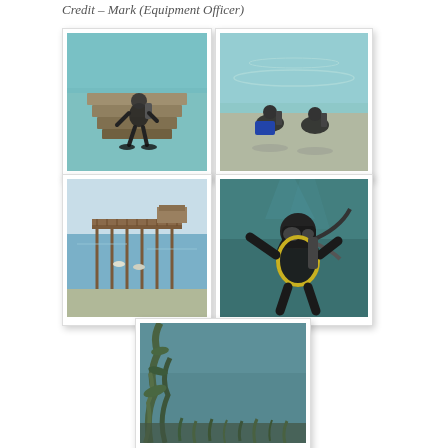Credit – Mark (Equipment Officer)
[Figure (photo): Scuba diver in wetsuit with equipment standing on stone steps leading into clear shallow water, viewed from above]
[Figure (photo): Two scuba divers with equipment at the water's edge on a shallow pebbly shore, viewed from above]
[Figure (photo): Wooden pier/jetty extending over calm water with small boats visible beneath, wide angle view]
[Figure (photo): Close-up underwater photo of a scuba diver in black wetsuit and equipment, giving a hand signal, greenish water]
[Figure (photo): Underwater photo showing seabed with aquatic plants/seaweed, murky greenish-blue water]